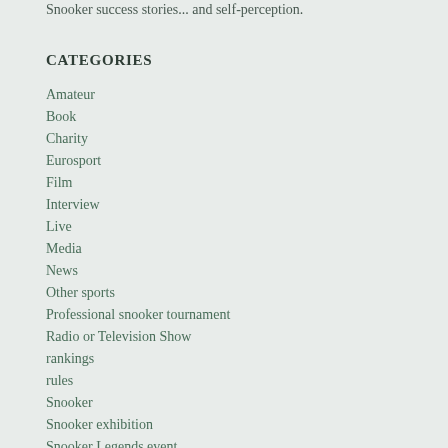Snooker success stories... and self-perception.
CATEGORIES
Amateur
Book
Charity
Eurosport
Film
Interview
Live
Media
News
Other sports
Professional snooker tournament
Radio or Television Show
rankings
rules
Snooker
Snooker exhibition
Snooker Legends event